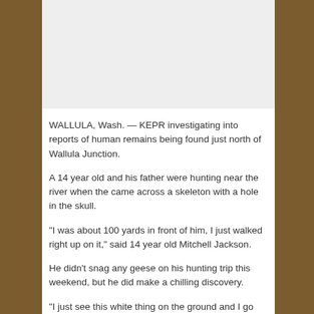[Figure (photo): Light gray placeholder image at the top of the article]
WALLULA, Wash. — KEPR investigating into reports of human remains being found just north of Wallula Junction.
A 14 year old and his father were hunting near the river when the came across a skeleton with a hole in the skull.
“I was about 100 yards in front of him, I just walked right up on it,” said 14 year old Mitchell Jackson.
He didn’t snag any geese on his hunting trip this weekend, but he did make a chilling discovery.
“I just see this white thing on the ground and I go walking closer to it. It looked like skull to me and I waited until my dad caught up to me and I said, ‘Dad, I think I found a